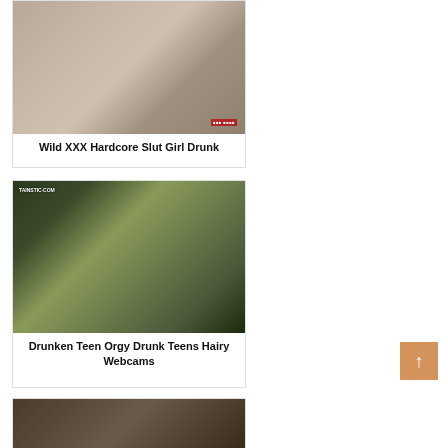[Figure (photo): Adult content photo placeholder - card 1]
Wild XXX Hardcore Slut Girl Drunk
[Figure (photo): Adult content photo placeholder - card 2]
Drunken Teen Orgy Drunk Teens Hairy Webcams
[Figure (photo): Adult content photo placeholder - card 3 partial]